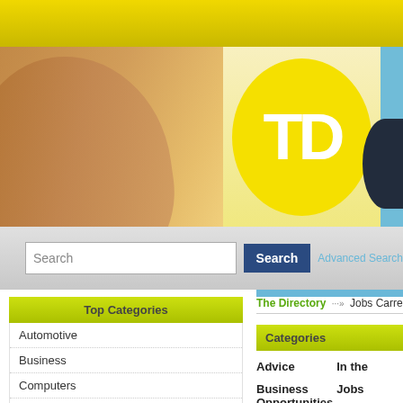[Figure (screenshot): Website header with yellow top bar, TD logo in yellow oval, finger/thumb image on left, blue section on right]
Search
Search
Advanced Search
Top Categories
The Directory ···» Jobs Carrers
Automotive
Business
Computers
Console Platforms
Education
Entertainment
Categories
Advice
In the
Business Opportunities
Jobs
Education and Careers
Online